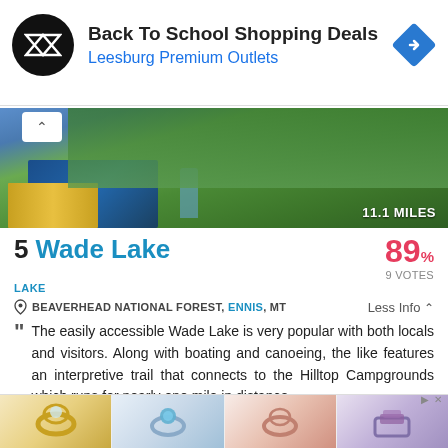[Figure (screenshot): Advertisement banner: Back To School Shopping Deals at Leesburg Premium Outlets, with black circular logo and blue diamond arrow icon]
[Figure (photo): Outdoor camping scene with blue tent and person in green forested area. Distance label: 11.1 MILES]
5 Wade Lake
89% 9 VOTES
LAKE
BEAVERHEAD NATIONAL FOREST, ENNIS, MT  Less Info
The easily accessible Wade Lake is very popular with both locals and visitors. Along with boating and canoeing, the like features an interpretive trail that connects to the Hilltop Campgrounds which runs for nearly one mile in distance.
[Figure (screenshot): Bottom advertisement showing four jewelry ring images]